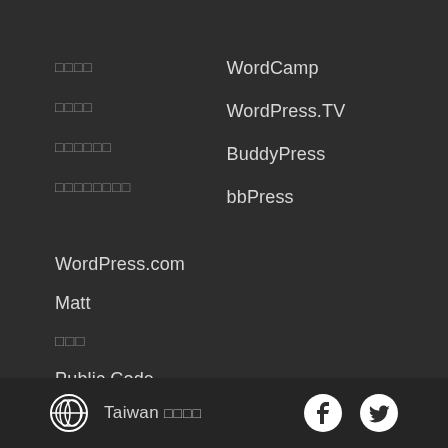□□□□ — WordCamp
□□□□ — WordPress.TV
□□□□□□ — BuddyPress
□□□□□□□□ — bbPress
WordPress.com
Matt
□□□
Public Code
Taiwan □□□□ — Facebook — Twitter